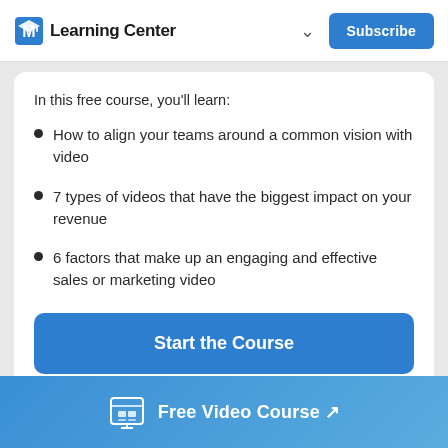Learning Center
In this free course, you'll learn:
How to align your teams around a common vision with video
7 types of videos that have the biggest impact on your revenue
6 factors that make up an engaging and effective sales or marketing video
Start the Course
Free Video Course ↗